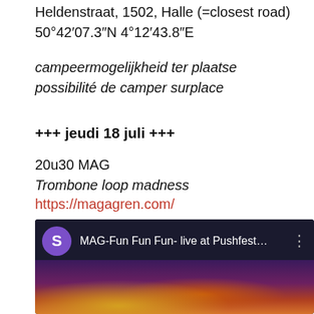Heldenstraat, 1502, Halle (=closest road)
50°42′07.3″N 4°12′43.8″E
campeermogelijkheid ter plaatse
possibilité de camper surplace
+++ jeudi 18 juli +++
20u30 MAG
Trombone loop madness
https://magagren.com/
[Figure (screenshot): YouTube video thumbnail showing 'MAG-Fun Fun Fun- live at Pushfest...' with a purple avatar circle with letter S, video title text in white, three-dot menu, and a colorful stage/performance image below]